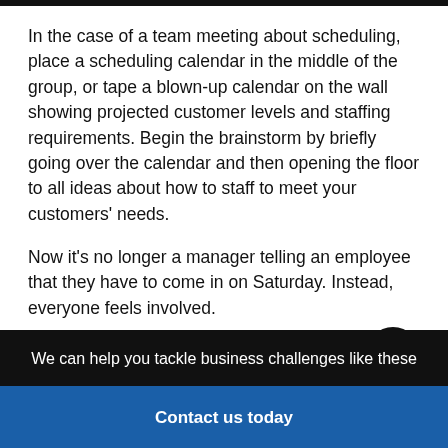In the case of a team meeting about scheduling, place a scheduling calendar in the middle of the group, or tape a blown-up calendar on the wall showing projected customer levels and staffing requirements. Begin the brainstorm by briefly going over the calendar and then opening the floor to all ideas about how to staff to meet your customers' needs.
Now it's no longer a manager telling an employee that they have to come in on Saturday. Instead, everyone feels involved.
When employees are empowered by being part of the
We can help you tackle business challenges like these
Contact us today